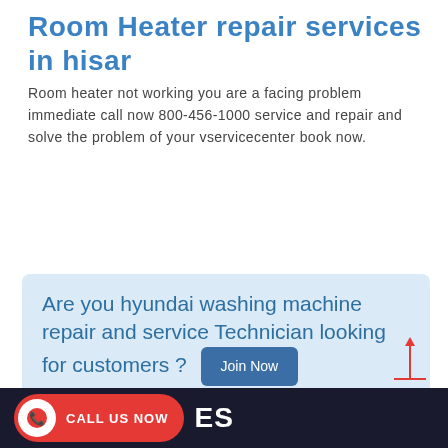Room Heater repair services in hisar
Room heater not working you are a facing problem immediate call now 800-456-1000 service and repair and solve the problem of your vservicecenter book now.
[Figure (other): Blue 'Book' button]
[Figure (infographic): Light blue promo box: 'Are you hyundai washing machine repair and service Technician looking for customers ?' with a 'Join Now' button]
[Figure (other): Red upward scroll arrow with horizontal base line]
CALL US NOW  ES